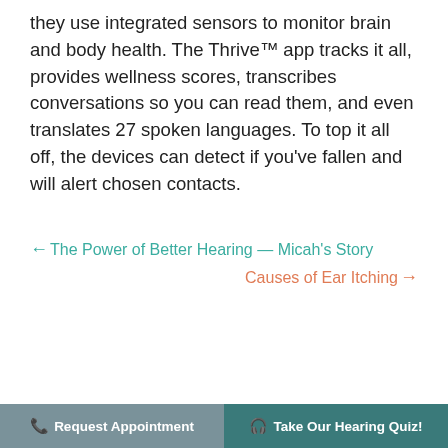they use integrated sensors to monitor brain and body health. The Thrive™ app tracks it all, provides wellness scores, transcribes conversations so you can read them, and even translates 27 spoken languages. To top it all off, the devices can detect if you've fallen and will alert chosen contacts.
← The Power of Better Hearing — Micah's Story   Causes of Ear Itching →
[Figure (logo): Expert hearing logo with teal arc/C shape and the word EXPERT in large dark bold letters]
📞 Request Appointment   🎧 Take Our Hearing Quiz!